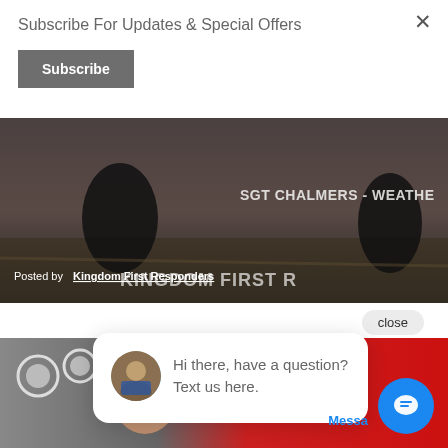Subscribe For Updates & Special Offers
Subscribe
[Figure (screenshot): Video thumbnail showing people working outdoors, with overlay text 'SGT CHALMERS - WEATHER' and 'KINGDOM FIRST R' on the right, and 'Posted by Kingdom First Responders' at bottom left]
close
Hi there, have a question? Text us here.
[Figure (screenshot): Video thumbnail showing a man in a grey cap in front of red fire truck with gauges and an American flag patch visible]
Messa